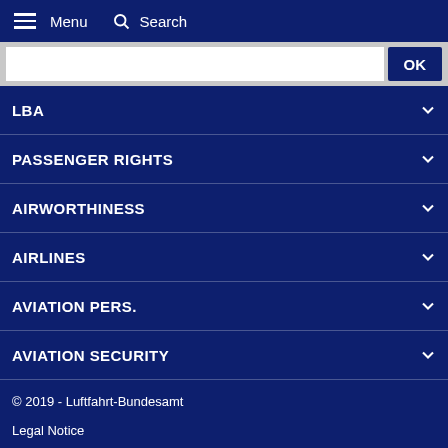Menu  Search
[Figure (screenshot): Search input bar with white background and dark blue OK button on the right]
LBA
PASSENGER RIGHTS
AIRWORTHINESS
AIRLINES
AVIATION PERS.
AVIATION SECURITY
© 2019 - Luftfahrt-Bundesamt
Legal Notice
Privacy Policy